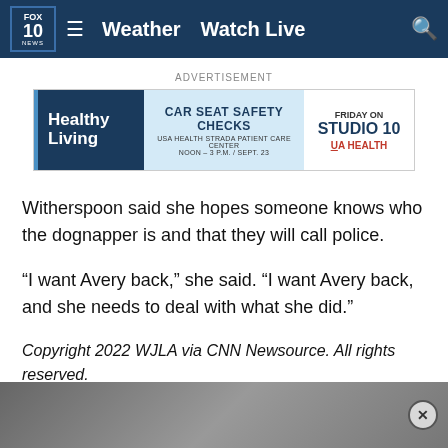FOX 10 News | Weather | Watch Live
[Figure (illustration): Advertisement banner for Healthy Living - Car Seat Safety Checks at USA Health Strada Patient Care Center, Friday on Studio 10, USA Health]
Witherspoon said she hopes someone knows who the dognapper is and that they will call police.
“I want Avery back,” she said. “I want Avery back, and she needs to deal with what she did.”
Copyright 2022 WJLA via CNN Newsource. All rights reserved.
Taboola Feed
[Figure (photo): Grayscale photo strip at bottom of page with close button]